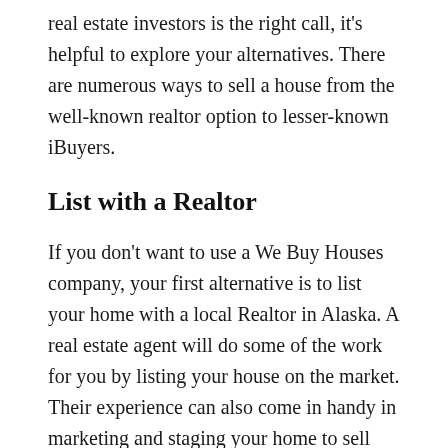real estate investors is the right call, it's helpful to explore your alternatives. There are numerous ways to sell a house from the well-known realtor option to lesser-known iBuyers.
List with a Realtor
If you don't want to use a We Buy Houses company, your first alternative is to list your home with a local Realtor in Alaska. A real estate agent will do some of the work for you by listing your house on the market. Their experience can also come in handy in marketing and staging your home to sell faster than if you did it alone. Their